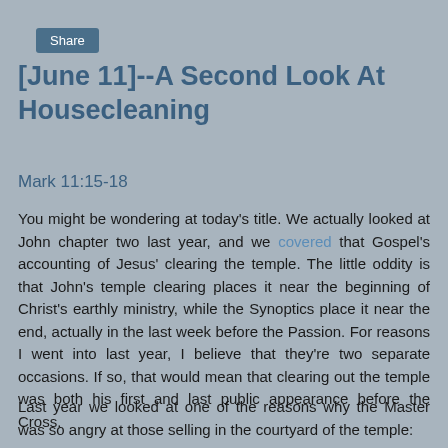Share
[June 11]--A Second Look At Housecleaning
Mark 11:15-18
You might be wondering at today's title. We actually looked at John chapter two last year, and we covered that Gospel's accounting of Jesus' clearing the temple. The little oddity is that John's temple clearing places it near the beginning of Christ's earthly ministry, while the Synoptics place it near the end, actually in the last week before the Passion. For reasons I went into last year, I believe that they're two separate occasions. If so, that would mean that clearing out the temple was both his first and last public appearance before the Cross.
Last year we looked at one of the reasons why the Master was so angry at those selling in the courtyard of the temple: